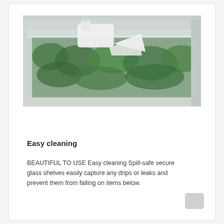[Figure (photo): Close-up photo of a refrigerator drawer pulled open, showing clear glass shelves with green leafy vegetables inside and a white bottle or container resting on top.]
Easy cleaning
BEAUTIFUL TO USE Easy cleaning Spill-safe secure glass shelves easily capture any drips or leaks and prevent them from falling on items below.